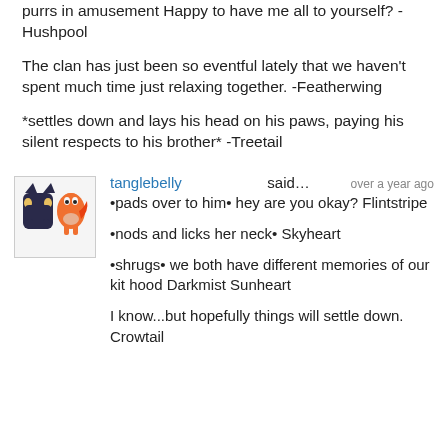purrs in amusement Happy to have me all to yourself? -Hushpool
The clan has just been so eventful lately that we haven't spent much time just relaxing together. -Featherwing
*settles down and lays his head on his paws, paying his silent respects to his brother* -Treetail
tanglebelly said… over a year ago
•pads over to him• hey are you okay? Flintstripe

•nods and licks her neck• Skyheart

•shrugs• we both have different memories of our kit hood Darkmist Sunheart

I know...but hopefully things will settle down. Crowtail